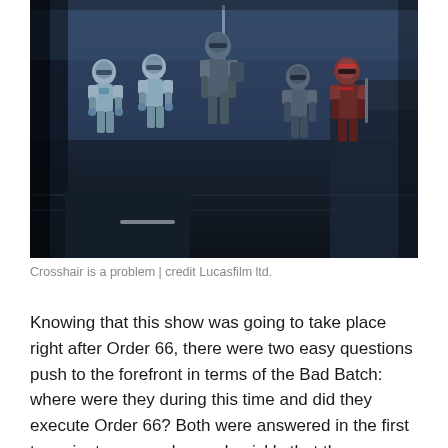[Figure (photo): A dark, blue-tinted scene showing five armored clone troopers (Bad Batch) standing in a dimly lit hangar or ship interior. One central figure holds a long staff/weapon raised. The troopers wear various armor colors including standard white/blue and red-accented armor.]
Crosshair is a problem | credit Lucasfilm ltd.
Knowing that this show was going to take place right after Order 66, there were two easy questions push to the forefront in terms of the Bad Batch: where were they during this time and did they execute Order 66? Both were answered in the first ten minutes as we learned quickly that they were on Kaller with Master Billaba and